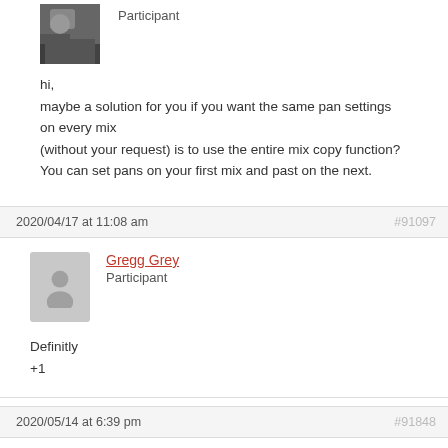[Figure (photo): User profile photo thumbnail, person visible]
Participant
hi,
maybe a solution for you if you want the same pan settings on every mix (without your request) is to use the entire mix copy function?
You can set pans on your first mix and past on the next.
2020/04/17 at 11:08 am
#91097
[Figure (photo): Generic user avatar placeholder (silhouette)]
Gregg Grey
Participant
Definitly
+1
2020/05/14 at 6:39 pm
#91848
[Figure (photo): Partial user avatar placeholder at bottom]
Haniol Trisna